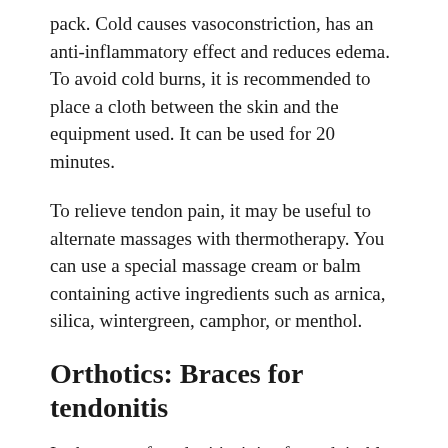pack. Cold causes vasoconstriction, has an anti-inflammatory effect and reduces edema. To avoid cold burns, it is recommended to place a cloth between the skin and the equipment used. It can be used for 20 minutes.
To relieve tendon pain, it may be useful to alternate massages with thermotherapy. You can use a special massage cream or balm containing active ingredients such as arnica, silica, wintergreen, camphor, or menthol.
Orthotics: Braces for tendonitis
In the case of tendonitis, it is often advisable to wear braces adapted to the affected area of the body. This is because braces restrict the movements that cause tendonitis thus and helping regenerate the damaged